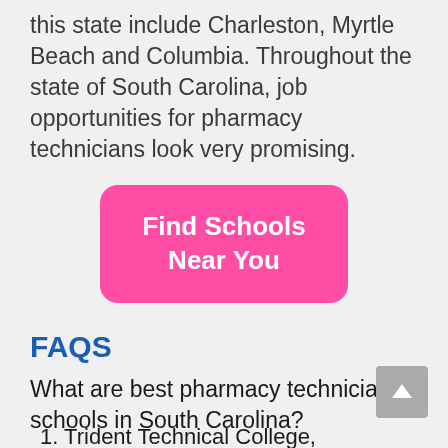this state include Charleston, Myrtle Beach and Columbia. Throughout the state of South Carolina, job opportunities for pharmacy technicians look very promising.
[Figure (other): Pink rounded button labeled 'Find Schools Near You']
FAQS
What are best pharmacy technician schools in South Carolina?
1. Trident Technical College, Charleston